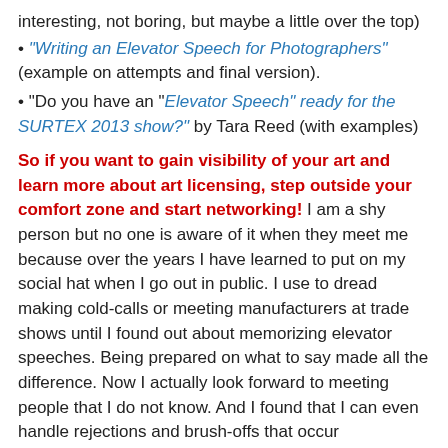interesting, not boring, but maybe a little over the top)
"Writing an Elevator Speech for Photographers" (example on attempts and final version).
"Do you have an "Elevator Speech" ready for the SURTEX 2013 show?" by Tara Reed (with examples)
So if you want to gain visibility of your art and learn more about art licensing, step outside your comfort zone and start networking! I am a shy person but no one is aware of it when they meet me because over the years I have learned to put on my social hat when I go out in public. I use to dread making cold-calls or meeting manufacturers at trade shows until I found out about memorizing elevator speeches. Being prepared on what to say made all the difference. Now I actually look forward to meeting people that I do not know. And I found that I can even handle rejections and brush-offs that occur occasionally. After all, it is just part of the business that I am passionate about :)
Your comments are welcome. Please click on the comments section (below) to write your comment.